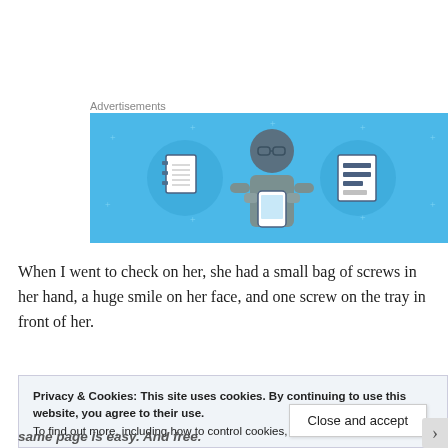Advertisements
[Figure (illustration): Blue advertisement banner showing a cartoon person holding a phone, flanked by two notebook/list icons in circular frames on a blue background with star decorations]
When I went to check on her, she had a small bag of screws in her hand, a huge smile on her face, and one screw on the tray in front of her.
Privacy & Cookies: This site uses cookies. By continuing to use this website, you agree to their use.
To find out more, including how to control cookies, see here: Cookie Policy
same page is easy. And free.